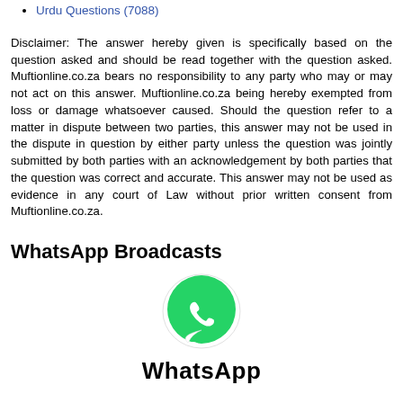Urdu Questions (7088)
Disclaimer: The answer hereby given is specifically based on the question asked and should be read together with the question asked. Muftionline.co.za bears no responsibility to any party who may or may not act on this answer. Muftionline.co.za being hereby exempted from loss or damage whatsoever caused. Should the question refer to a matter in dispute between two parties, this answer may not be used in the dispute in question by either party unless the question was jointly submitted by both parties with an acknowledgement by both parties that the question was correct and accurate. This answer may not be used as evidence in any court of Law without prior written consent from Muftionline.co.za.
WhatsApp Broadcasts
[Figure (logo): WhatsApp logo: green circle with white phone handset icon inside a speech bubble shape]
WhatsApp